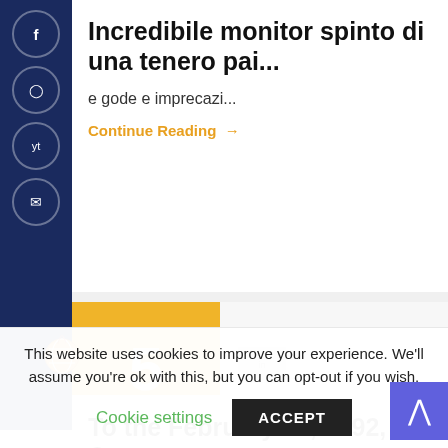Incredibile monitor spinto di una tenero pai...
e gode e imprecazi...
Continue Reading →
[Figure (illustration): Globe icon with flame, positioned at left sidebar bottom]
5 SEP
[Figure (photo): Small image placeholder labeled 'in']
globallfootballacademy
To the February 21, 1692, Corey was compe...
This website uses cookies to improve your experience. We'll assume you're ok with this, but you can opt-out if you wish.
Cookie settings
ACCEPT